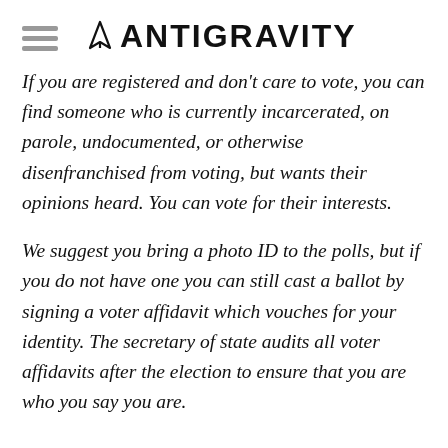ANTIGRAVITY
If you are registered and don't care to vote, you can find someone who is currently incarcerated, on parole, undocumented, or otherwise disenfranchised from voting, but wants their opinions heard. You can vote for their interests.
We suggest you bring a photo ID to the polls, but if you do not have one you can still cast a ballot by signing a voter affidavit which vouches for your identity. The secretary of state audits all voter affidavits after the election to ensure that you are who you say you are.